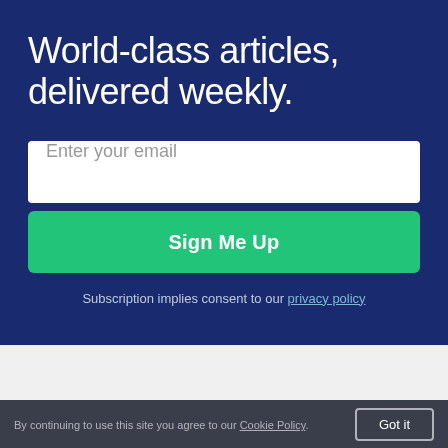World-class articles, delivered weekly.
Enter your email
Sign Me Up
Subscription implies consent to our privacy policy
By continuing to use this site you agree to our Cookie Policy.
Got it